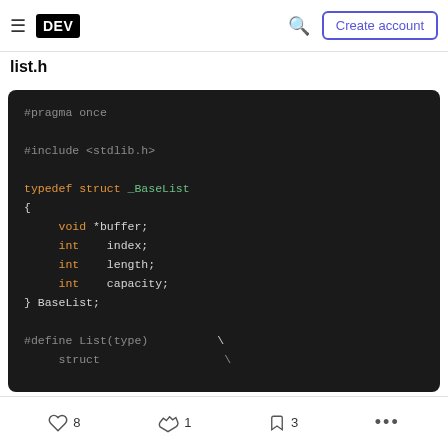DEV | Create account
list.h
[Figure (screenshot): Dark-themed code block showing C header file with #pragma once, #include <stdlib.h>, typedef struct _BaseList with void *buffer, int index, int length, int capacity fields, and #define List(type) macro]
8 likes | 1 comment | 3 bookmarks